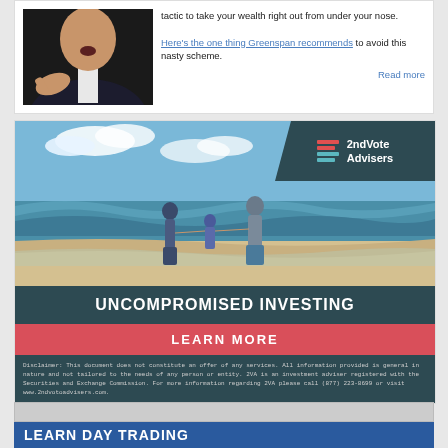tactic to take your wealth right out from under your nose. Here's the one thing Greenspan recommends to avoid this nasty scheme. Read more
[Figure (photo): Man in suit and red tie pointing aggressively at camera, beach family scene with 2ndVote Advisers ad showing family holding hands at beach shore]
UNCOMPROMISED INVESTING
LEARN MORE
Disclaimer: This document does not constitute an offer of any services. All information provided is general in nature and not tailored to the needs of any person or entity. 2VA is an investment adviser registered with the Securities and Exchange Commission. For more information regarding 2VA please call (877) 223-8699 or visit www.2ndvotoadvisers.com.
[Figure (screenshot): Partial bottom banner showing LEARN DAY TRADING text in white on blue background]